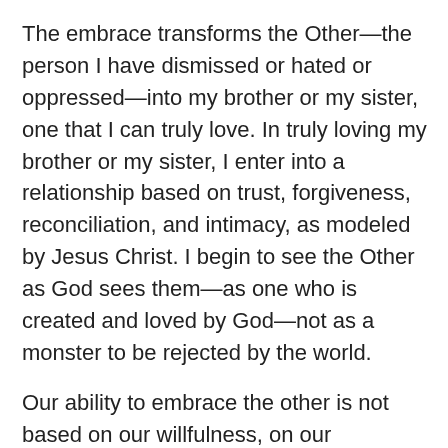The embrace transforms the Other—the person I have dismissed or hated or oppressed—into my brother or my sister, one that I can truly love. In truly loving my brother or my sister, I enter into a relationship based on trust, forgiveness, reconciliation, and intimacy, as modeled by Jesus Christ. I begin to see the Other as God sees them—as one who is created and loved by God—not as a monster to be rejected by the world.
Our ability to embrace the other is not based on our willfulness, on our insistence. Our ability to embrace the other is based on God's embrace of us. We can embrace because God first embraced us. We can love because God first loved us.
A longer version of this post was published in Leader